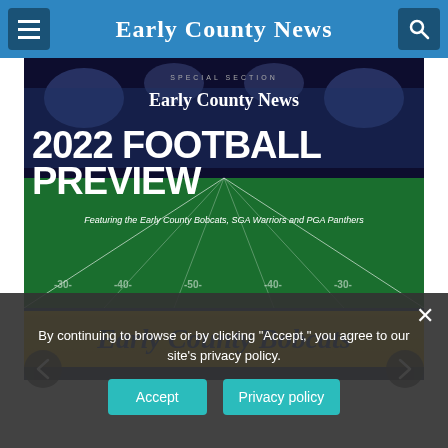Early County News
[Figure (screenshot): 2022 Football Preview special section cover from Early County News featuring the Early County Bobcats, SGA Warriors and PGA Panthers, shown over a stadium background with field markings]
Early County Bobcats
By continuing to browse or by clicking "Accept," you agree to our site's privacy policy.
Accept   Privacy policy